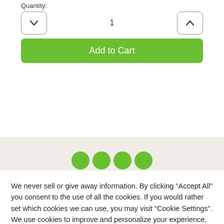Quantity:
[Figure (screenshot): Quantity selector with down arrow button, value '1', and up arrow button]
Add to Cart
[Figure (illustration): Gray background section with four partially visible green circles at the bottom]
We never sell or give away information. By clicking "Accept All" you consent to the use of all the cookies. If you would rather set which cookies we can use, you may visit "Cookie Settings". We use cookies to improve and personalize your experience, help us analyze how the site is used, and for marketing purposes.
Cookie Settings
Accept All